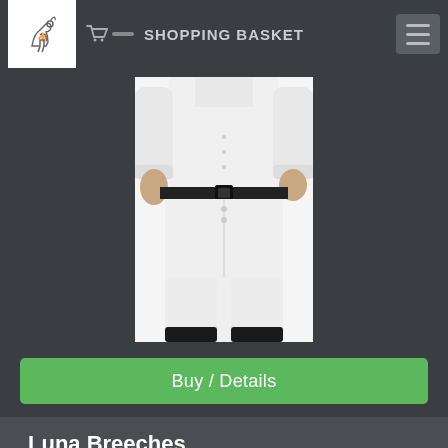SHOPPING BASKET
[Figure (photo): Person wearing white equestrian breeches with a black belt and white shirt, shown from waist down]
Buy / Details
Luna Breeches
£168.00 (224.69 USD) 1 in stock
Breeches with a fit for top performance, with lots of comfort